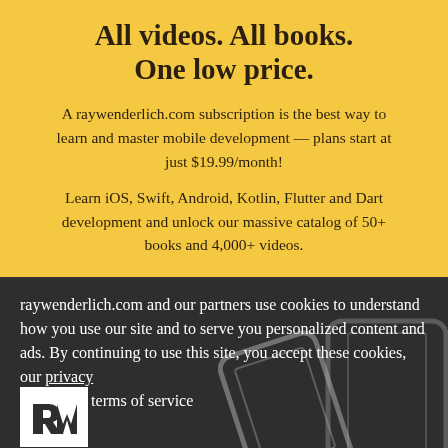All videos. All books. One low price.
A raywenderlich.com subscription is the best way to learn and master mobile development — plans start at just $19.99/month!
Learn iOS, Swift, Android, Kotlin, Flutter and Dart development and unlock our massive catalog of 50+ books and 4,000+ videos.
raywenderlich.com and our partners use cookies to understand how you use our site and to serve you personalized content and ads. By continuing to use this site, you accept these cookies, our privacy policy and terms of service
[Figure (logo): raywenderlich.com logo — white stylized 'rw' lettermark on white background square]
[Figure (illustration): Two overlapping smartphones/tablets shown in outline, gray on dark background]
The largest and most up-to-date collection of courses and